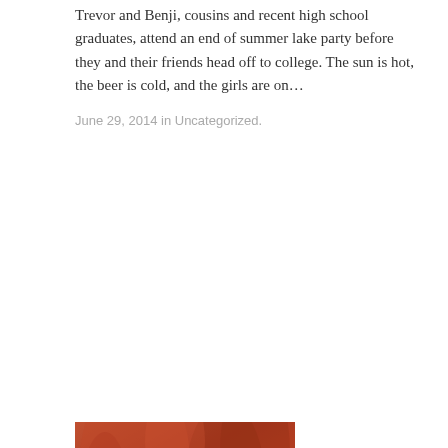Trevor and Benji, cousins and recent high school graduates, attend an end of summer lake party before they and their friends head off to college. The sun is hot, the beer is cold, and the girls are on…
June 29, 2014 in Uncategorized.
[Figure (photo): Book cover photo showing 'That's Who' text in white serif font over a warm reddish-brown background, partially cropped]
7.5/10 for Jayden Brooks' That's Who I Am #MMRomance #LGBT #Debut